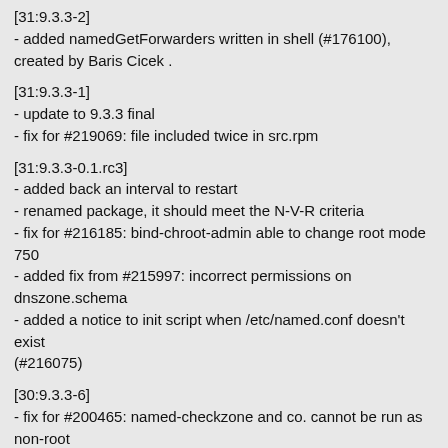[31:9.3.3-2]
- added namedGetForwarders written in shell (#176100), created by Baris Cicek .
[31:9.3.3-1]
- update to 9.3.3 final
- fix for #219069: file included twice in src.rpm
[31:9.3.3-0.1.rc3]
- added back an interval to restart
- renamed package, it should meet the N-V-R criteria
- fix for #216185: bind-chroot-admin able to change root mode 750
- added fix from #215997: incorrect permissions on dnszone.schema
- added a notice to init script when /etc/named.conf doesn't exist (#216075)
[30:9.3.3-6]
- fix for #200465: named-checkzone and co. cannot be run as non-root user
- fix for #212348: chroot'd named causes df permission denied error
- fix for #211249, #211083 - problems with stopping named
- fix for #212549: init script does not unmount /proc filesystem
- fix for #211282: EDNS is globally enabled, crashing CheckPoint FW-1, added edns-enable options to named configuration file which can suppress
EDNS is ...